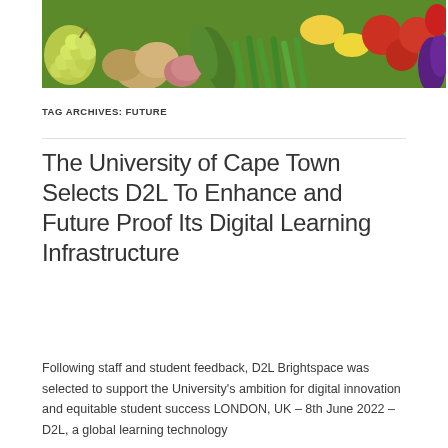[Figure (photo): Header banner image showing assorted fresh fruits and vegetables including grapes, potatoes, tomatoes, cucumbers, green beans, lemons, and eggplant arranged together]
TAG ARCHIVES: FUTURE
The University of Cape Town Selects D2L To Enhance and Future Proof Its Digital Learning Infrastructure
Following staff and student feedback, D2L Brightspace was selected to support the University's ambition for digital innovation and equitable student success LONDON, UK – 8th June 2022 – D2L, a global learning technology